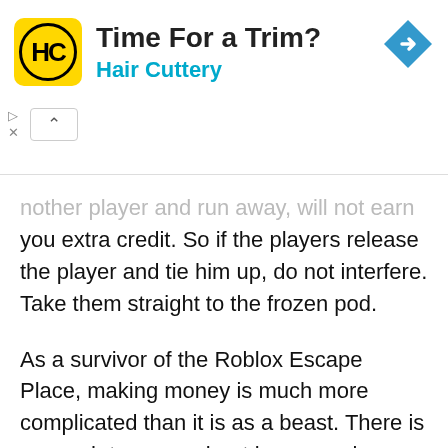[Figure (other): Hair Cuttery advertisement banner with yellow square logo showing 'HC' text, title 'Time For a Trim?', subtitle 'Hair Cuttery', and a blue diamond arrow icon on the right.]
nother player and run away, will not earn you extra credit. So if the players release the player and tie him up, do not interfere. Take them straight to the frozen pod.
As a survivor of the Roblox Escape Place, making money is much more complicated than it is as a beast. There is so much to worry about in-game play. However, each task can be done multiple times, and winning as a survivor can earn quite a few credits.